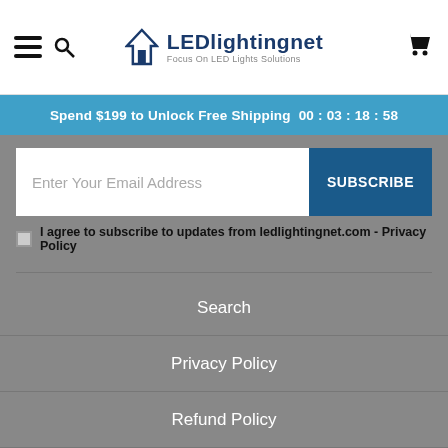LEDlightingnet - Focus On LED Lights Solutions
Spend $199 to Unlock Free Shipping  00 : 03 : 18 : 58
Enter Your Email Address
SUBSCRIBE
I agree to subscribe to updates from ledlightingnet.com - Privacy Policy
Search
Privacy Policy
Refund Policy
Shipping Policy
Terms of Service